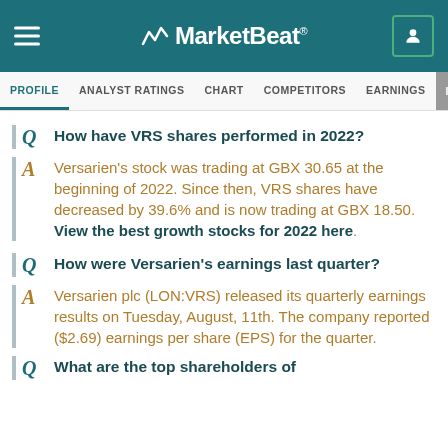MarketBeat
PROFILE | ANALYST RATINGS | CHART | COMPETITORS | EARNINGS | INSIDER TRA
Q  How have VRS shares performed in 2022?
A  Versarien's stock was trading at GBX 30.65 at the beginning of 2022. Since then, VRS shares have decreased by 39.6% and is now trading at GBX 18.50. View the best growth stocks for 2022 here.
Q  How were Versarien's earnings last quarter?
A  Versarien plc (LON:VRS) released its quarterly earnings results on Tuesday, August, 11th. The company reported ($2.69) earnings per share (EPS) for the quarter.
Q  What are the top shareholders of...